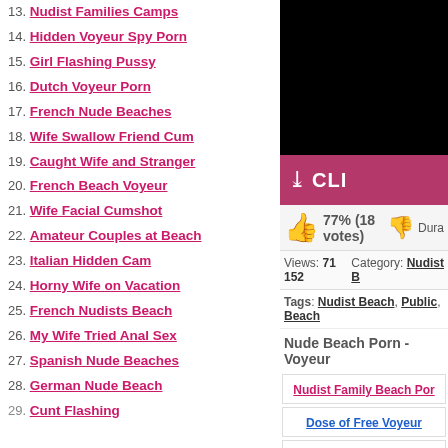13. Nudist Families Camps
14. Hidden Voyeur Spy Porn
15. Girl Flashing Pussy
16. Dutch Voyeur Porn
17. French Nude Beaches
18. Wife Swallow Friend Cum
19. Caught Wife and Stranger
20. French Beach Voyeur
21. Wife Facial Cumshot
22. Amateur Couples at Beach
23. Italian Hidden Cam
24. Horny Wife on Vacation
25. French Nudists Beach
26. My Wife Tried Anal Sex
27. Spanish Nude Beaches
28. German Nude Beach
29. Cunt Flashing
[Figure (screenshot): Black video preview area]
CLI (partially visible pink bar button)
77% (18 votes)
Views: 71 152   Category: Nudist Beach
Tags: Nudist Beach, Public, Beach
Nude Beach Porn - Voyeur
Nudist Family Beach Por...
Dose of Free Voyeur
Mooz Porn